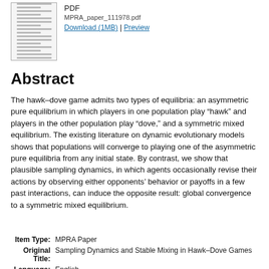[Figure (other): Thumbnail image of a PDF document page]
PDF
MPRA_paper_111978.pdf
Download (1MB) | Preview
Abstract
The hawk–dove game admits two types of equilibria: an asymmetric pure equilibrium in which players in one population play “hawk” and players in the other population play “dove,” and a symmetric mixed equilibrium. The existing literature on dynamic evolutionary models shows that populations will converge to playing one of the asymmetric pure equilibria from any initial state. By contrast, we show that plausible sampling dynamics, in which agents occasionally revise their actions by observing either opponents’ behavior or payoffs in a few past interactions, can induce the opposite result: global convergence to a symmetric mixed equilibrium.
| Item Type: | MPRA Paper |
| Original Title: | Sampling Dynamics and Stable Mixing in Hawk–Dove Games |
| Language: | English |